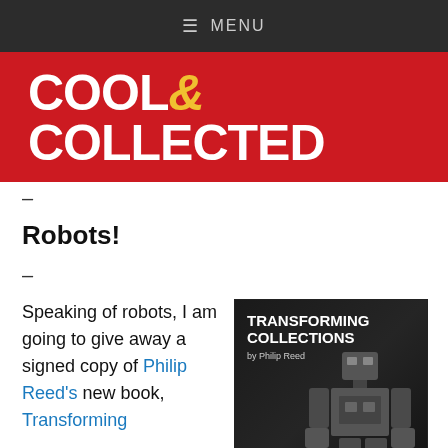≡ MENU
[Figure (logo): Cool & Collected logo on red background]
–
Robots!
–
Speaking of robots, I am going to give away a signed copy of Philip Reed's new book, Transforming
[Figure (photo): Book cover: Transforming Collections by Philip Reed, showing a robot figure on dark background]